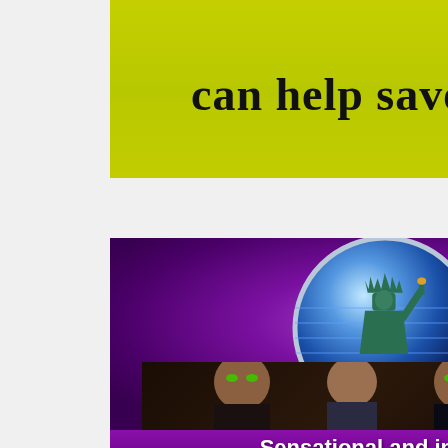[Figure (illustration): Yellow-green banner ad with bold text 'can help save a life']
[Figure (illustration): World Liberty TV Fashion Channel advertisement on purple background with Statue of Liberty globe logo, photo of models and host, text 'Sensational and in style']